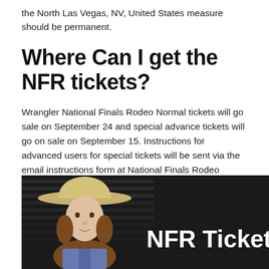the North Las Vegas, NV, United States measure should be permanent.
Where Can I get the NFR tickets?
Wrangler National Finals Rodeo Normal tickets will go sale on September 24 and special advance tickets will go on sale on September 15. Instructions for advanced users for special tickets will be sent via the email instructions form at National Finals Rodeo Tickets. You can also buy tickets for National Finals Rodeo on the Official Website.
[Figure (photo): A woman wearing a cowboy hat looking at the camera, with 'NFR Tickets' text on the right side against a dark background.]